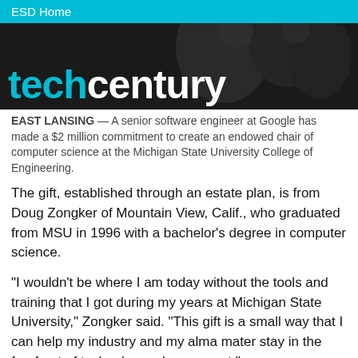ESD Home
[Figure (screenshot): Hero image with techcentury logo on dark background with blurred people in background]
EAST LANSING — A senior software engineer at Google has made a $2 million commitment to create an endowed chair of computer science at the Michigan State University College of Engineering.
The gift, established through an estate plan, is from Doug Zongker of Mountain View, Calif., who graduated from MSU in 1996 with a bachelor's degree in computer science.
“I wouldn’t be where I am today without the tools and training that I got during my years at Michigan State University,” Zongker said. “This gift is a small way that I can help my industry and my alma mater stay in the forefront of technology advancement.”
Said MSU President Lou Anna K. Simon: “We are grateful